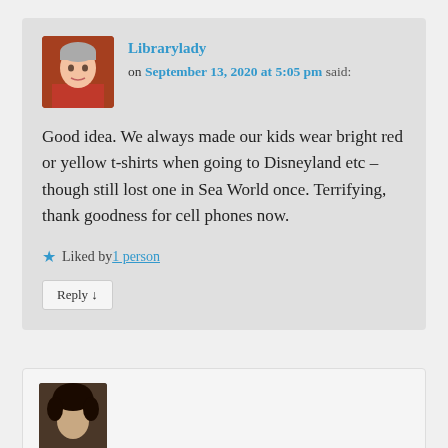Librarylady on September 13, 2020 at 5:05 pm said:
Good idea. We always made our kids wear bright red or yellow t-shirts when going to Disneyland etc – though still lost one in Sea World once. Terrifying, thank goodness for cell phones now.
Liked by 1 person
Reply ↓
[Figure (photo): Small avatar photo of commenter, appears to be a woman with short gray hair wearing a red top]
[Figure (photo): Partial avatar photo of a second commenter, appears to show dark curly hair]